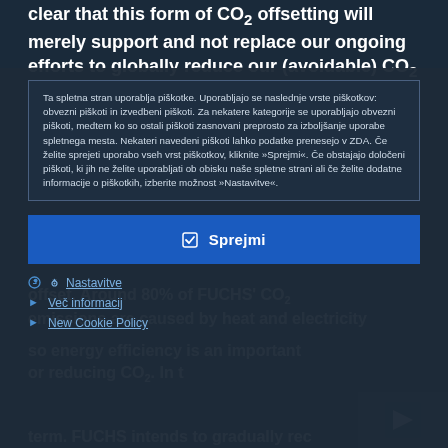clear that this form of CO₂ offsetting will merely support and not replace our ongoing efforts to globally reduce our (avoidable) CO₂ emissions.
Ta spletna stran uporablja piškotke. Uporabljajo se naslednje vrste piškotkov: obvezni piškoti in izvedbeni piškoti. Za nekatere kategorije se uporabljajo obvezni piškoti, medtem ko so ostali piškoti zasnovani preprosto za izboljšanje uporabe spletnega mesta. Nekateri navedeni piškoti lahko podatke prenesejo v ZDA. Če želite sprejeti uporabo vseh vrst piškotkov, kliknite »Sprejmi«. Če obstajajo določeni piškoti, ki jih ne želite uporabljati ob obisku naše spletne strani ali če želite dodatne informacije o piškotkih, izberite možnost »Nastavitve«.
Sprejmi
Nastavitve
Več informacij
New Cookie Policy
offset. Around 80% of FUCHS' CO₂ emissions are caused by heat and electricity so energy efficiency is an important or reducing CO₂. In t term. FUCHS intends to gradually rec